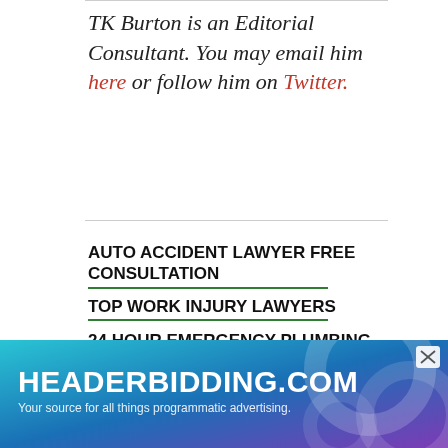TK Burton is an Editorial Consultant. You may email him here or follow him on Twitter.
AUTO ACCIDENT LAWYER FREE CONSULTATION
TOP WORK INJURY LAWYERS
24 HOUR EMERGENCY PLUMBING REPAIR
SHOP AUTO INSURANCE ONLINE
ONLINE COLLEGES WITHOUT...
[Figure (screenshot): HEADERBIDDING.COM banner advertisement: 'Your source for all things programmatic advertising.' with teal/purple gradient background and decorative circles.]